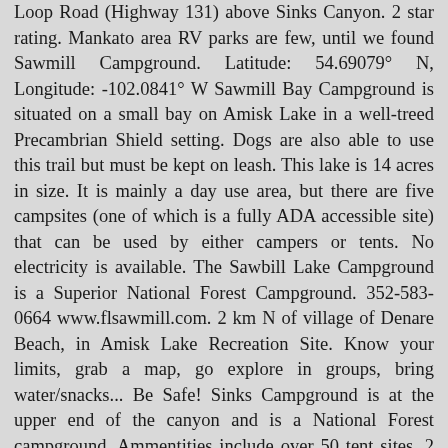Loop Road (Highway 131) above Sinks Canyon. 2 star rating. Mankato area RV parks are few, until we found Sawmill Campground. Latitude: 54.69079° N, Longitude: -102.0841° W Sawmill Bay Campground is situated on a small bay on Amisk Lake in a well-treed Precambrian Shield setting. Dogs are also able to use this trail but must be kept on leash. This lake is 14 acres in size. It is mainly a day use area, but there are five campsites (one of which is a fully ADA accessible site) that can be used by either campers or tents. No electricity is available. The Sawbill Lake Campground is a Superior National Forest Campground. 352-583-0664 www.flsawmill.com. 2 km N of village of Denare Beach, in Amisk Lake Recreation Site. Know your limits, grab a map, go explore in groups, bring water/snacks... Be Safe! Sinks Campground is at the upper end of the canyon and is a National Forest campground. Ammentities include over 50 tent sites, 2 large group areas, cabins, pit toilets, water (during the warmer months) and fishing in the lake. Methinks not. It is called the NJOutdoorMap.com. Sawmill Flat Overview. Current Weather. There is a large day use picnic shelter at Sawmill Campground that is available on a first come first served basis. Recommended Reviews. Simple example: When it is cloudy, you will not have as much light as expected. Did you review our availability calendar? Sawmill Lake Campsites are located on Sawmill Road. Rustic camping in High Point State Park can be found at Sawmill